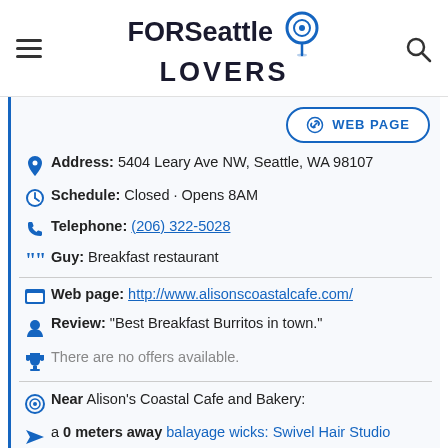FOR Seattle LOVERS
WEB PAGE
Address: 5404 Leary Ave NW, Seattle, WA 98107
Schedule: Closed · Opens 8AM
Telephone: (206) 322-5028
Guy: Breakfast restaurant
Web page: http://www.alisonscoastalcafe.com/
Review: "Best Breakfast Burritos in town."
There are no offers available.
Near Alison's Coastal Cafe and Bakery:
a 0 meters away balayage wicks: Swivel Hair Studio
a 25 meters away argentinean meat in: Asadero Ballard